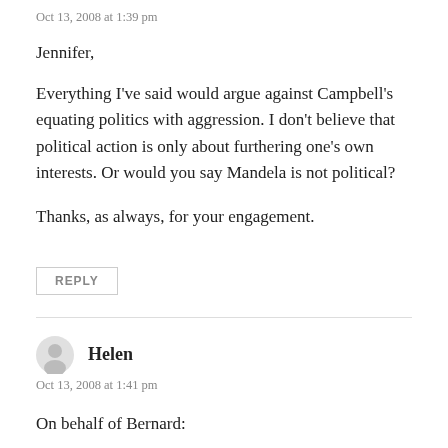Oct 13, 2008 at 1:39 pm
Jennifer,
Everything I've said would argue against Campbell's equating politics with aggression. I don't believe that political action is only about furthering one's own interests. Or would you say Mandela is not political?
Thanks, as always, for your engagement.
REPLY
Helen
Oct 13, 2008 at 1:41 pm
On behalf of Bernard: